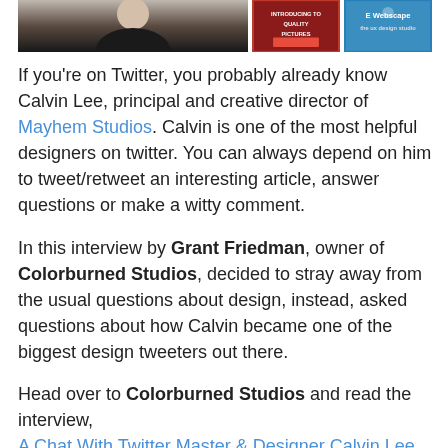[Figure (photo): Top portion showing a person photo on the left, and two book/logo images on the right]
If you're on Twitter, you probably already know Calvin Lee, principal and creative director of Mayhem Studios. Calvin is one of the most helpful designers on twitter. You can always depend on him to tweet/retweet an interesting article, answer questions or make a witty comment.
In this interview by Grant Friedman, owner of Colorburned Studios, decided to stray away from the usual questions about design, instead, asked questions about how Calvin became one of the biggest design tweeters out there.
Head over to Colorburned Studios and read the interview, A Chat With Twitter Master & Designer Calvin Lee.
Follow @mayhemstudios and @colorburned on Twitter.
About Grant Friedman
Grant Friedman is the creative mind behind Colorburned Studios, a freelance design studio.